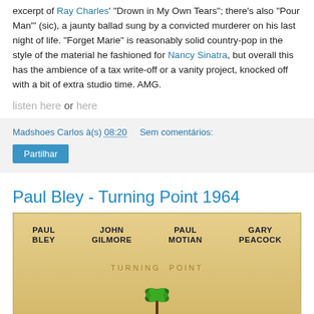excerpt of Ray Charles' "Drown in My Own Tears"; there's also "Pour Man'" (sic), a jaunty ballad sung by a convicted murderer on his last night of life. "Forget Marie" is reasonably solid country-pop in the style of the material he fashioned for Nancy Sinatra, but overall this has the ambience of a tax write-off or a vanity project, knocked off with a bit of extra studio time. AMG.
listen here or here
Madshoes Carlos à(s) 08:20   Sem comentários:
Partilhar
Paul Bley - Turning Point 1964
[Figure (photo): Album cover for Paul Bley Turning Point 1964 showing names PAUL BLEY, JOHN GILMORE, PAUL MOTIAN, GARY PEACOCK on a yellow/golden background with TURNING POINT text and a palm tree illustration]